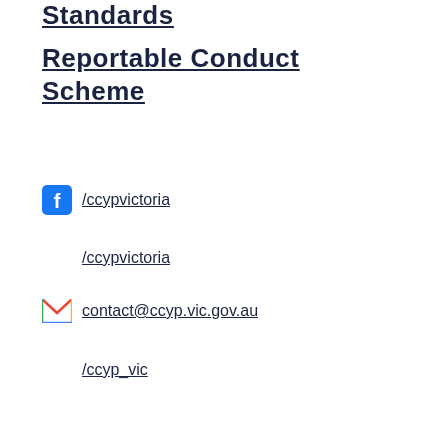Standards
Reportable Conduct Scheme
/ccypvictoria (Facebook)
/ccypvictoria (LinkedIn)
contact@ccyp.vic.gov.au (Email)
/ccyp_vic (Twitter)